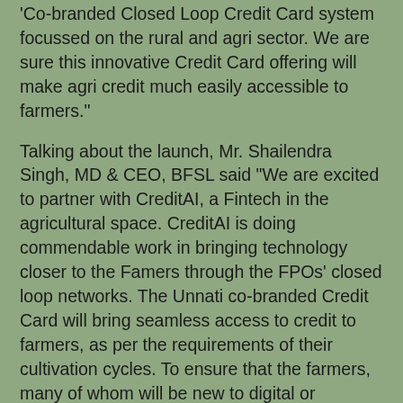'Co-branded Closed Loop Credit Card system focussed on the rural and agri sector. We are sure this innovative Credit Card offering will make agri credit much easily accessible to farmers."
Talking about the launch, Mr. Shailendra Singh, MD & CEO, BFSL said "We are excited to partner with CreditAI, a Fintech in the agricultural space. CreditAI is doing commendable work in bringing technology closer to the Famers through the FPOs' closed loop networks. The Unnati co-branded Credit Card will bring seamless access to credit to farmers, as per the requirements of their cultivation cycles. To ensure that the farmers, many of whom will be new to digital or cashless credit, are protected from misuse of their credit card, Unnati will run as a Closed Loop Program and the card can only be used for agriculture related inputs from the respective FPO network. We thank CreditAI for coming up with this idea and also offering to be involved across the entire customer lifecycle, from identification to onboarding to customer education and repayment assistance. We have also offered a very low rate of interest, should the farmer not be able to repay the entire outstanding in one go. We believe that all the above measures will help in adaptation of cashless credit